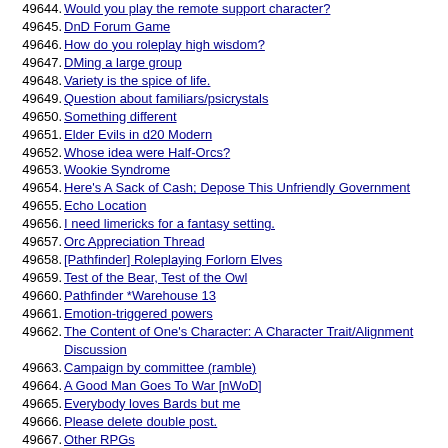49644. Would you play the remote support character?
49645. DnD Forum Game
49646. How do you roleplay high wisdom?
49647. DMing a large group
49648. Variety is the spice of life.
49649. Question about familiars/psicrystals
49650. Something different
49651. Elder Evils in d20 Modern
49652. Whose idea were Half-Orcs?
49653. Wookie Syndrome
49654. Here's A Sack of Cash; Depose This Unfriendly Government
49655. Echo Location
49656. I need limericks for a fantasy setting.
49657. Orc Appreciation Thread
49658. [Pathfinder] Roleplaying Forlorn Elves
49659. Test of the Bear, Test of the Owl
49660. Pathfinder *Warehouse 13
49661. Emotion-triggered powers
49662. The Content of One's Character: A Character Trait/Alignment Discussion
49663. Campaign by committee (ramble)
49664. A Good Man Goes To War [nWoD]
49665. Everybody loves Bards but me
49666. Please delete double post.
49667. Other RPGs
49668. How to Play RolePlaying Games.
49669. Etiquette for playing in a badly run module
49670. OOC Problems
49671. Neutrality- should the alignment system be